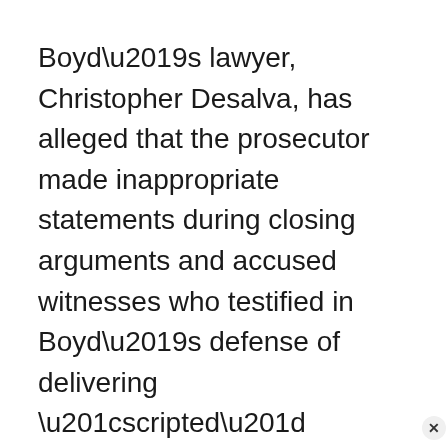Boyd’s lawyer, Christopher Desalva, has alleged that the prosecutor made inappropriate statements during closing arguments and accused witnesses who testified in Boyd’s defense of delivering “scripted” statements.
“The implication … is that the evidence was doctored or manipulated in some way,” he said.
Boyd won three Virginia state wrestling championships in the 1960s in high school before enrolling at Temple University, where